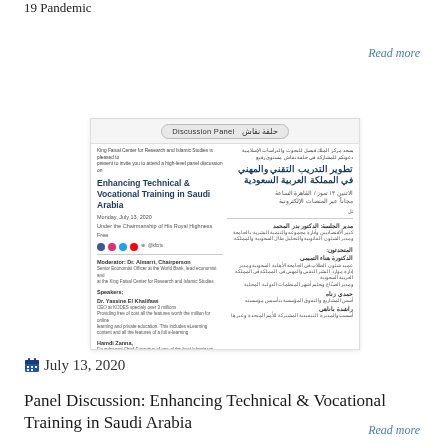19 Pandemic
Read more
[Figure (illustration): A bilingual (English/Arabic) discussion panel flyer for 'Enhancing Technical & Vocational Training in Saudi Arabia', dated Monday, July 13, 2020, showing social media icons, moderator, speakers, and institution footer.]
July 13, 2020
Panel Discussion: Enhancing Technical & Vocational Training in Saudi Arabia
Read more